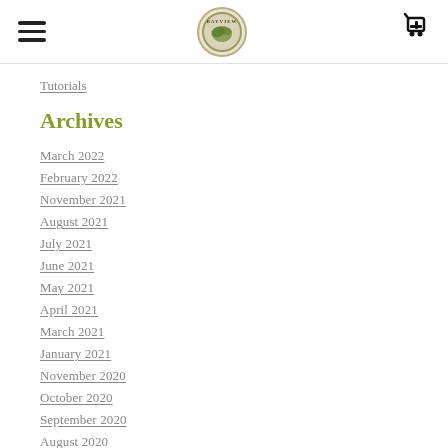Navigation header with hamburger menu, Bayview logo, and cart icon
Tutorials
Archives
March 2022
February 2022
November 2021
August 2021
July 2021
June 2021
May 2021
April 2021
March 2021
January 2021
November 2020
October 2020
September 2020
August 2020
July 2020